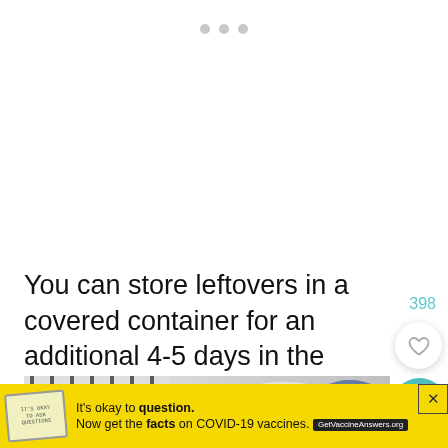[Figure (other): Three pagination dots indicator at top center of page]
You can store leftovers in a covered container for an additional 4-5 days in the refrigerator
398
[Figure (other): Heart (favourite) icon button in white circle]
[Figure (other): Search icon button in teal circle]
[Figure (photo): Photo strip showing striped cloth/towel and white bowl against light background]
[Figure (other): Advertisement banner with yellow background: It's okay to question. Now get the facts on COVID-19 vaccines. GetVaccineAnswers.org]